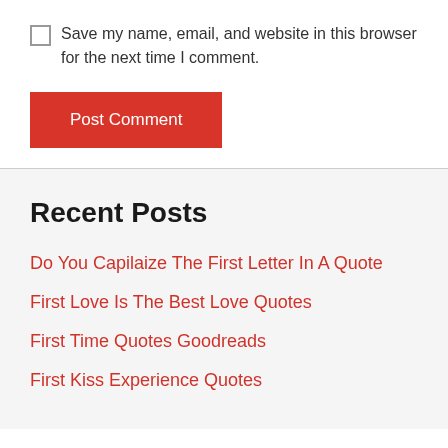Save my name, email, and website in this browser for the next time I comment.
[Figure (other): Red Post Comment button]
Recent Posts
Do You Capilaize The First Letter In A Quote
First Love Is The Best Love Quotes
First Time Quotes Goodreads
First Kiss Experience Quotes